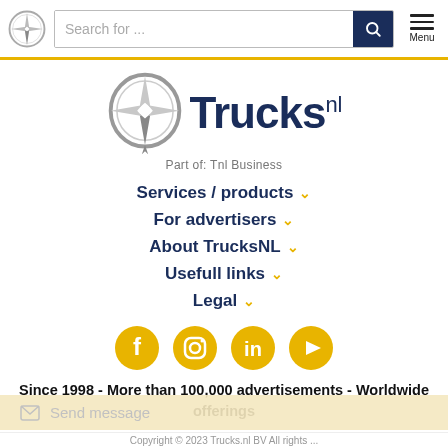Search for ... [search bar] Menu
[Figure (logo): Trucks.nl logo with compass rose graphic and text 'Trucks nl', Part of: Tnl Business]
Services / products ∨
For advertisers ∨
About TrucksNL ∨
Usefull links ∨
Legal ∨
[Figure (illustration): Social media icons: Facebook, Instagram, LinkedIn, YouTube — all in yellow/gold color]
Since 1998 - More than 100,000 advertisements - Worldwide offerings
Send message
Copyright © 2023 Trucks.nl BV All rights ...